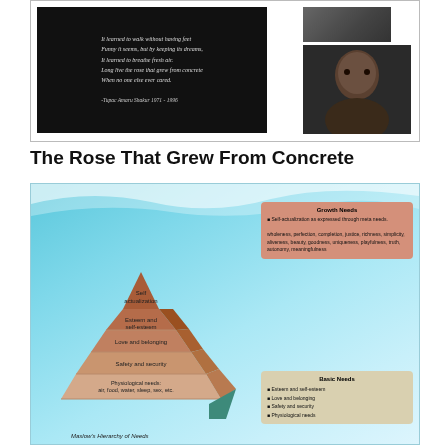[Figure (photo): Black background image with cursive white/pink text showing a Tupac Shakur poem/quote, and a portrait photo of Tupac Shakur on the right side]
The Rose That Grew From Concrete
[Figure (infographic): Maslow's Hierarchy of Needs pyramid diagram on a teal/blue gradient background. The pyramid has 5 levels from bottom: Physiological needs (air, food, water, sleep, sex, etc.), Safety and security, Love and belonging, Esteem and self-esteem, Self-actualization. On the right are two boxes: Growth Needs (Self-actualization as expressed through meta needs: wholeness, perfection, completion, justice, richness, simplicity, aliveness, beauty, goodness, uniqueness, playfulness, truth, autonomy, meaningfulness) and Basic Needs (Esteem and self-esteem, Love and belonging, Safety and security, Physiological needs). Caption reads: Maslow's Hierarchy of Needs]
Maslow's Hierarchy of Needs